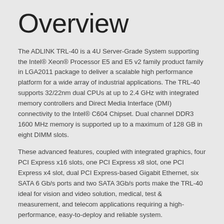Overview
The ADLINK TRL-40 is a 4U Server-Grade System supporting the Intel® Xeon® Processor E5 and E5 v2 family product family in LGA2011 package to deliver a scalable high performance platform for a wide array of industrial applications. The TRL-40 supports 32/22nm dual CPUs at up to 2.4 GHz with integrated memory controllers and Direct Media Interface (DMI) connectivity to the Intel® C604 Chipset. Dual channel DDR3 1600 MHz memory is supported up to a maximum of 128 GB in eight DIMM slots.
These advanced features, coupled with integrated graphics, four PCI Express x16 slots, one PCI Express x8 slot, one PCI Express x4 slot, dual PCI Express-based Gigabit Ethernet, six SATA 6 Gb/s ports and two SATA 3Gb/s ports make the TRL-40 ideal for vision and video solution, medical, test & measurement, and telecom applications requiring a high-performance, easy-to-deploy and reliable system.